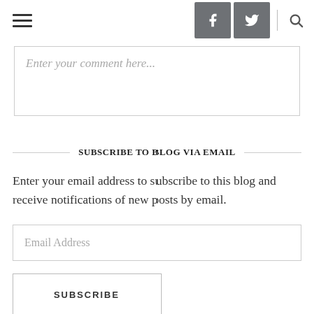Navigation header with hamburger menu, Facebook button, Twitter button, and search icon
Enter your comment here...
SUBSCRIBE TO BLOG VIA EMAIL
Enter your email address to subscribe to this blog and receive notifications of new posts by email.
Email Address
SUBSCRIBE